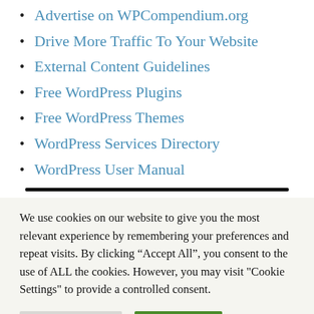Advertise on WPCompendium.org
Drive More Traffic To Your Website
External Content Guidelines
Free WordPress Plugins
Free WordPress Themes
WordPress Services Directory
WordPress User Manual
We use cookies on our website to give you the most relevant experience by remembering your preferences and repeat visits. By clicking “Accept All”, you consent to the use of ALL the cookies. However, you may visit "Cookie Settings" to provide a controlled consent.